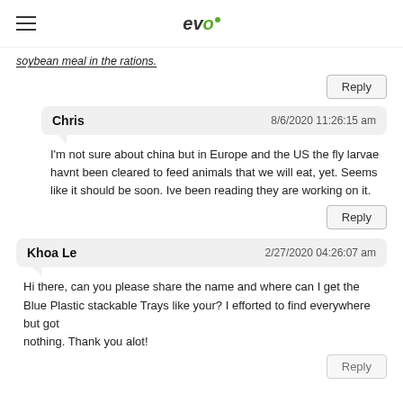evo
soybean meal in the rations.
Chris  8/6/2020 11:26:15 am
I'm not sure about china but in Europe and the US the fly larvae havnt been cleared to feed animals that we will eat, yet. Seems like it should be soon. Ive been reading they are working on it.
Khoa Le  2/27/2020 04:26:07 am
Hi there, can you please share the name and where can I get the Blue Plastic stackable Trays like your? I efforted to find everywhere but got
nothing. Thank you alot!